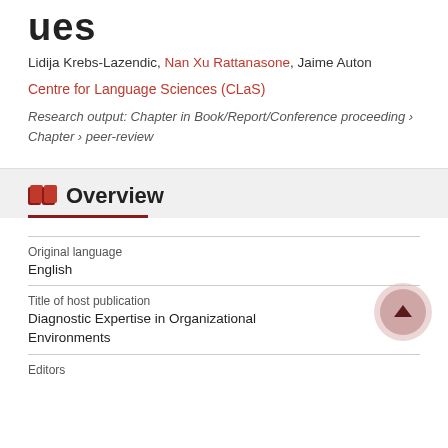ues
Lidija Krebs-Lazendic, Nan Xu Rattanasone, Jaime Auton
Centre for Language Sciences (CLaS)
Research output: Chapter in Book/Report/Conference proceeding › Chapter › peer-review
Overview
| Field | Value |
| --- | --- |
| Original language | English |
| Title of host publication | Diagnostic Expertise in Organizational Environments |
| Editors |  |